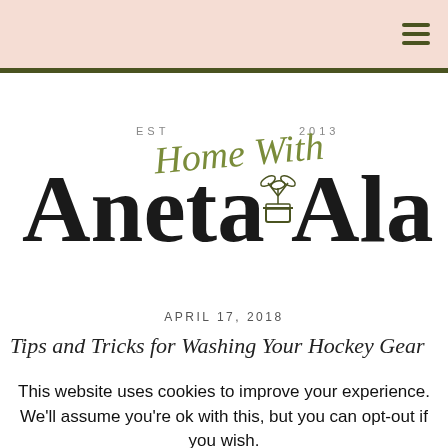Home With Aneta Alaei — navigation header with hamburger menu
[Figure (logo): Home With Aneta Alaei logo — EST 2013, script and serif lettering with a potted plant illustration between 'Aneta' and 'Alaei']
APRIL 17, 2018
Tips and Tricks for Washing Your Hockey Gear
This website uses cookies to improve your experience. We'll assume you're ok with this, but you can opt-out if you wish. Accept  Reject  Read Privacy Policy